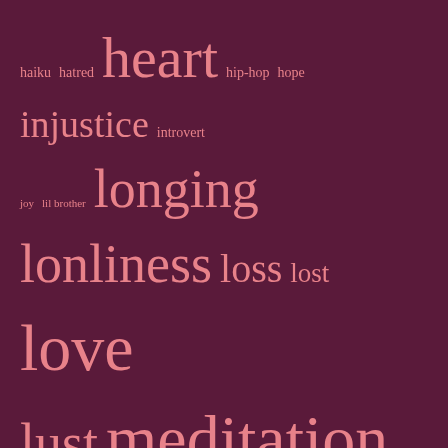[Figure (infographic): A tag/word cloud on a dark maroon background with pink text. Words shown in varying sizes representing their frequency/importance: haiku, hatred, heart, hip-hop, hope, injustice, introvert, joy, lil brother, longing, lonliness, loss, lost, love, lust, meditation, Medium, Meeting the Bar, meh, micropoetry, Momma, muse, NaPoWriMo, NaPoWriMo2017, NaPoWriMo2018, NaPoWriMo2019, NaPoWriMo2020, NaPoWriMo2021, narrative, nightmares, Ode, Open Link Night, Poems, Poetics, Poetry Pantry, Poets United, precious memories, prose, protest, quadrille, Racism, Real Toads, regret, revenge, snark, stargazing, tanka, tragedy, whimsy]